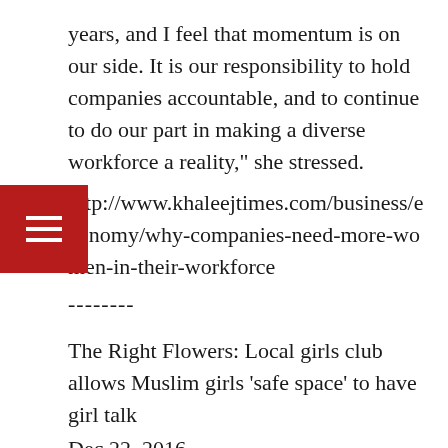years, and I feel that momentum is on our side. It is our responsibility to hold companies accountable, and to continue to do our part in making a diverse workforce a reality," she stressed.
http://www.khaleejtimes.com/business/economy/why-companies-need-more-women-in-their-workforce
--------
The Right Flowers: Local girls club allows Muslim girls ‘safe space’ to have girl talk
Dec 22, 2016
The East Plano Islamic Center is fairly quiet. Several men and women are attending classes,